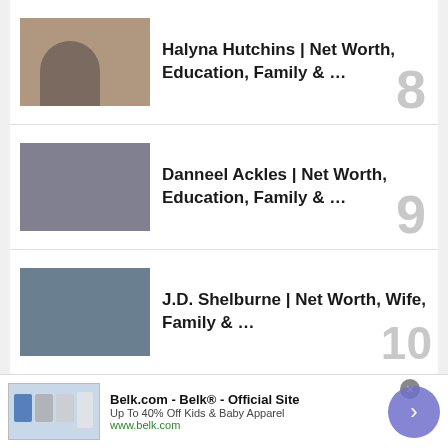Halyna Hutchins | Net Worth, Education, Family & … 8
Danneel Ackles | Net Worth, Education, Family & … 9
J.D. Shelburne | Net Worth, Wife, Family & … 10
Biography Talks Copyright © 2022 PRIVACY POLICY • ABOUT US • CONTACT US • ADVERTISE By using … of use
[Figure (other): Advertisement banner for Belk.com showing clothing items thumbnail, text 'Belk.com - Belk® - Official Site Up To 40% Off Kids & Baby Apparel www.belk.com' with a purple arrow button and close button]